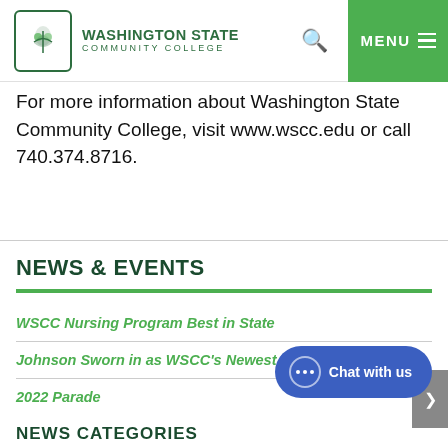WASHINGTON STATE COMMUNITY COLLEGE
For more information about Washington State Community College, visit www.wscc.edu or call 740.374.8716.
NEWS & EVENTS
WSCC Nursing Program Best in State
Johnson Sworn in as WSCC's Newest Trustee
2022 Parade